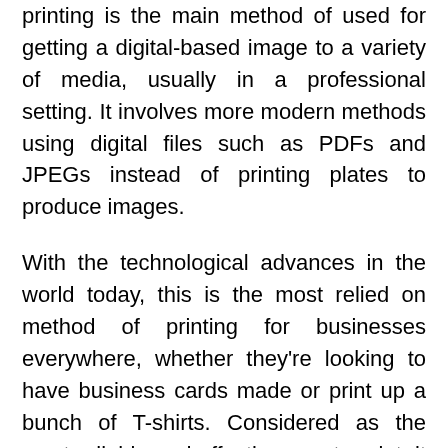printing is the main method of used for getting a digital-based image to a variety of media, usually in a professional setting. It involves more modern methods using digital files such as PDFs and JPEGs instead of printing plates to produce images.
With the technological advances in the world today, this is the most relied on method of printing for businesses everywhere, whether they're looking to have business cards made or print up a bunch of T-shirts. Considered as the most reliable and effective way to print, it is significantly different than the more traditional methods of printing, such as Litho printing and offset printing. Whether you're interested in getting printing done for personal or professional reasons, it's important to recognize the benefits